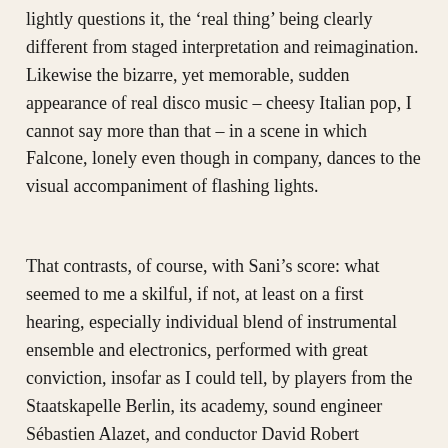lightly questions it, the 'real thing' being clearly different from staged interpretation and reimagination. Likewise the bizarre, yet memorable, sudden appearance of real disco music – cheesy Italian pop, I cannot say more than that – in a scene in which Falcone, lonely even though in company, dances to the visual accompaniment of flashing lights.
That contrasts, of course, with Sani's score: what seemed to me a skilful, if not, at least on a first hearing, especially individual blend of instrumental ensemble and electronics, performed with great conviction, insofar as I could tell, by players from the Staatskapelle Berlin, its academy, sound engineer Sébastien Alazet, and conductor David Robert Coleman. There are passages in which the music seems to 'express' something akin to what we see on stage, motivations behind it, reflections upon it, and so forth, others when greater autonomy is apparent; for the most part, however, it seems very much part and parcel of an approach that might be considered